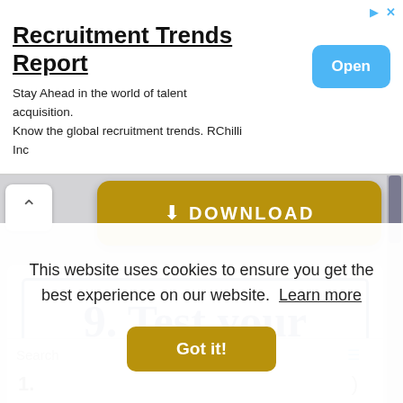[Figure (screenshot): Advertisement banner for Recruitment Trends Report by RChilli Inc with an Open button]
Recruitment Trends Report
Stay Ahead in the world of talent acquisition. Know the global recruitment trends. RChilli Inc
[Figure (screenshot): Download button (gold/yellow) with download icon and DOWNLOAD text]
[Figure (screenshot): Document preview showing partial heading '9. Test your']
Search
1.
This website uses cookies to ensure you get the best experience on our website.  Learn more
Got it!